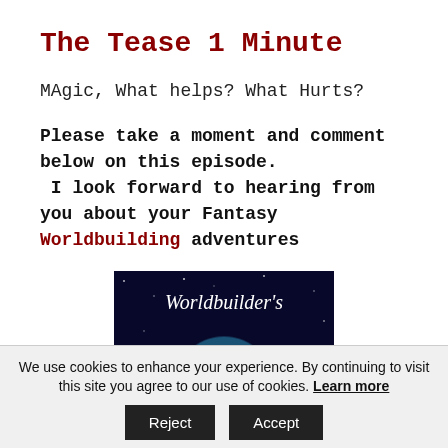The Tease 1 Minute
MAgic, What helps? What Hurts?
Please take a moment and comment below on this episode.  I look forward to hearing from you about your Fantasy Worldbuilding adventures
[Figure (illustration): Image of a globe in space with the text Worldbuilder's overlaid in italic white script]
We use cookies to enhance your experience. By continuing to visit this site you agree to our use of cookies. Learn more Accept Reject